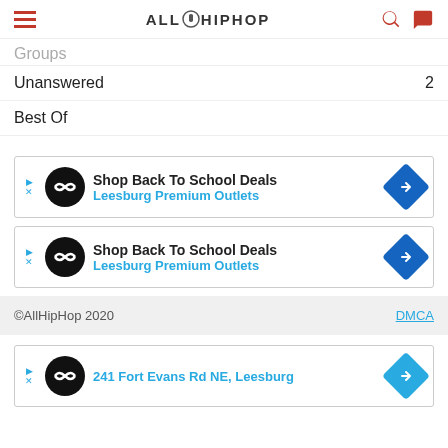AllHipHop
Groups
Unanswered  2
Best Of
[Figure (other): Advertisement: Shop Back To School Deals - Leesburg Premium Outlets]
[Figure (other): Advertisement: Shop Back To School Deals - Leesburg Premium Outlets]
©AllHipHop 2020    DMCA
[Figure (other): Advertisement: 241 Fort Evans Rd NE, Leesburg]